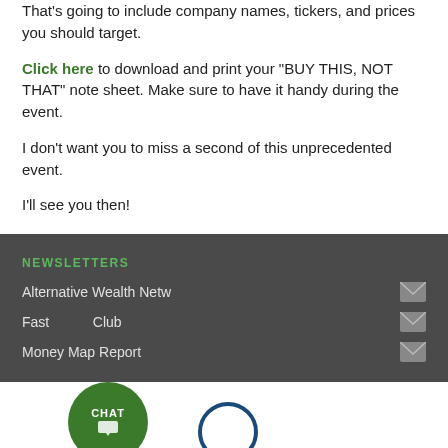That's going to include company names, tickers, and prices you should target.
Click here to download and print your “BUY THIS, NOT THAT” note sheet. Make sure to have it handy during the event.
I don’t want you to miss a second of this unprecedented event.
I’ll see you then!
NEWSLETTERS
Alternative Wealth Network
Fast [Profit] Club
Money Map Report